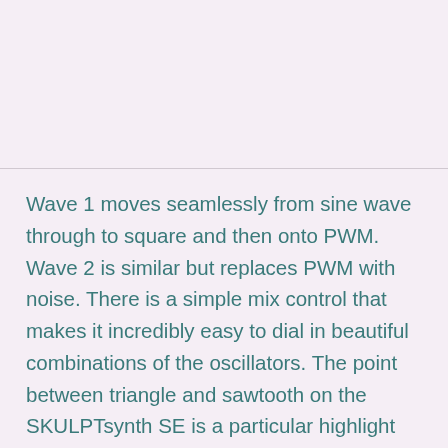Wave 1 moves seamlessly from sine wave through to square and then onto PWM. Wave 2 is similar but replaces PWM with noise. There is a simple mix control that makes it incredibly easy to dial in beautiful combinations of the oscillators. The point between triangle and sawtooth on the SKULPTsynth SE is a particular highlight and the noise is remarkably usable when mixed appropriately.